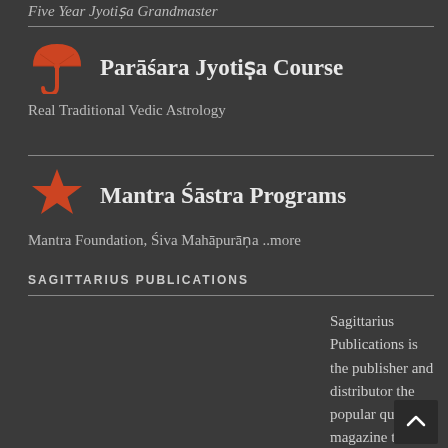Five Year Jyotiṣa Grandmaster
[Figure (illustration): Red umbrella icon]
Parāśara Jyotiṣa Course
Real Traditional Vedic Astrology
[Figure (illustration): Red star icon]
Mantra Śāstra Programs
Mantra Foundation, Śiva Mahāpurāṇa ..more
SAGITTARIUS PUBLICATIONS
Sagittarius Publications is the publisher and distributor the popular quaterly magazine the Jyotish Digest, as